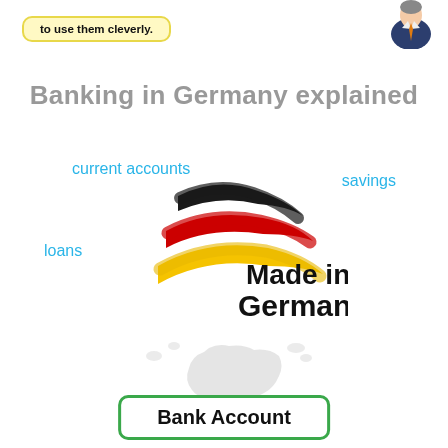[Figure (infographic): Top banner with speech bubble saying 'to use them cleverly.' and a person in a suit with an orange tie on the right side.]
Banking in Germany explained
[Figure (infographic): Made in Germany logo with German flag brush strokes (black, red, yellow) and surrounding cyan text labels: current accounts, savings, loans, credit cards, business accounts]
[Figure (infographic): Bottom section showing a faded map of Germany with a green-bordered 'Bank Account' button below it]